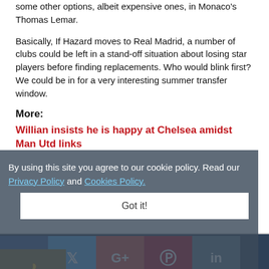some other options, albeit expensive ones, in Monaco's Thomas Lemar.
Basically, If Hazard moves to Real Madrid, a number of clubs could be left in a stand-off situation about losing star players before finding replacements. Who would blink first? We could be in for a very interesting summer transfer window.
More:
Willian insists he is happy at Chelsea amidst Man Utd links
By using this site you agree to our cookie policy. Read our Privacy Policy and Cookies Policy.
Got it!
[Figure (infographic): Social media share buttons: Facebook, Twitter, Google+, Pinterest, LinkedIn, and a thumbs-up/like button]